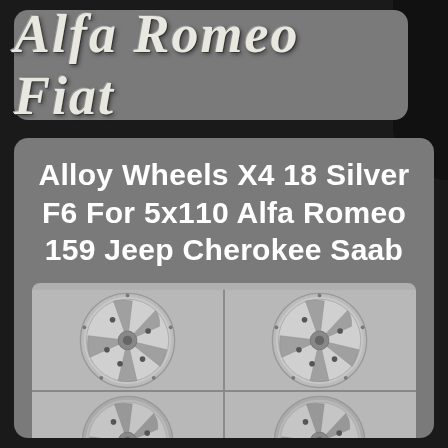Alfa Romeo Fiat
Alloy Wheels X4 18 Silver F6 For 5x110 Alfa Romeo 159 Jeep Cherokee Saab
[Figure (photo): Four silver alloy wheels with 5-spoke design arranged in a 2x2 grid, photographed on a light grey background]